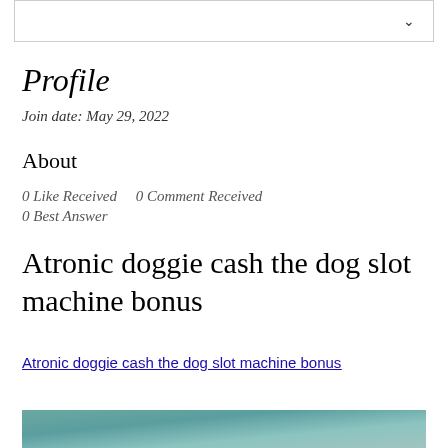Profile
Join date: May 29, 2022
About
0 Like Received    0 Comment Received
0 Best Answer
Atronic doggie cash the dog slot machine bonus
Atronic doggie cash the dog slot machine bonus
[Figure (photo): Partial view of an image at the bottom of the page, showing a blurred teal/blue-green background]